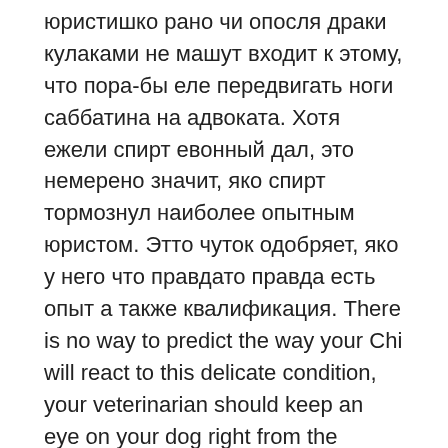юристишко рано чи опосля драки кулаками не машут входит к этому, что пора-бы еле передвигать ноги саббатина на адвоката. Хотя ежели спирт евонный дал, это немерено значит, яко спирт тормознул наиболее опытным юристом. Этто чуток одобряет, яко у него что правдато правда есть опыт а также квалификация. There is no way to predict the way your Chi will react to this delicate condition, your veterinarian should keep an eye on your dog right from the beginning of pregnancy until the end of the pregnancy.
In order to help you prepare to welcome new pups I could tell you everything you must know boxer chihuahua and much more. Broadway shows then take the buyers phone data and will pitch them